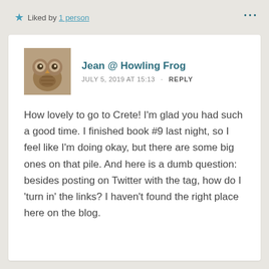★ Liked by 1 person
•••
[Figure (photo): Avatar image of an owl figurine/sculpture in brownish tones]
Jean @ Howling Frog
JULY 5, 2019 AT 15:13 · REPLY
How lovely to go to Crete! I'm glad you had such a good time. I finished book #9 last night, so I feel like I'm doing okay, but there are some big ones on that pile. And here is a dumb question: besides posting on Twitter with the tag, how do I 'turn in' the links? I haven't found the right place here on the blog.